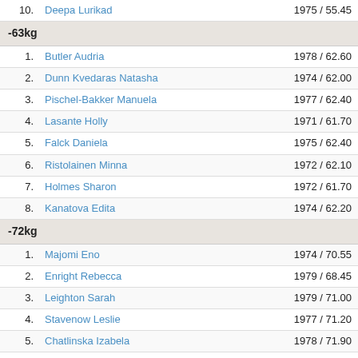| # | Name | Year / Weight |
| --- | --- | --- |
| 10. | Deepa Lurikad | 1975 / 55.45 |
| -63kg |  |  |
| 1. | Butler Audria | 1978 / 62.60 |
| 2. | Dunn Kvedaras Natasha | 1974 / 62.00 |
| 3. | Pischel-Bakker Manuela | 1977 / 62.40 |
| 4. | Lasante Holly | 1971 / 61.70 |
| 5. | Falck Daniela | 1975 / 62.40 |
| 6. | Ristolainen Minna | 1972 / 62.10 |
| 7. | Holmes Sharon | 1972 / 61.70 |
| 8. | Kanatova Edita | 1974 / 62.20 |
| -72kg |  |  |
| 1. | Majomi Eno | 1974 / 70.55 |
| 2. | Enright Rebecca | 1979 / 68.45 |
| 3. | Leighton Sarah | 1979 / 71.00 |
| 4. | Stavenow Leslie | 1977 / 71.20 |
| 5. | Chatlinska Izabela | 1978 / 71.90 |
| 6. | Joutsela Sanna | 1973 / 70.00 |
| 7. | Rohni Bansal | 1976 / 68.95 |
| 8. | Ngwenya Zanele | 1979 / 67.50 |
| 9. | Melnikova Olga | 1978 / 71.45 |
| -84kg |  |  |
| 1. | Henell Frida | 1978 / 82.95 |
| 2. | Taylor-Hood Vicky | 1975 / 83.20 |